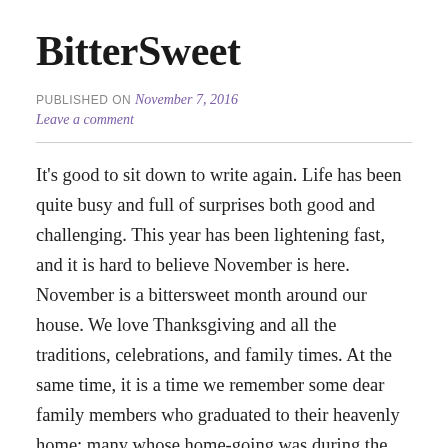BitterSweet
PUBLISHED ON November 7, 2016
Leave a comment
It's good to sit down to write again. Life has been quite busy and full of surprises both good and challenging. This year has been lightening fast, and it is hard to believe November is here. November is a bittersweet month around our house. We love Thanksgiving and all the traditions, celebrations, and family times. At the same time, it is a time we remember some dear family members who graduated to their heavenly home; many whose home-going was during the month of November. November is also the month my husband and I have the pleasure of celebrating our anniversary.